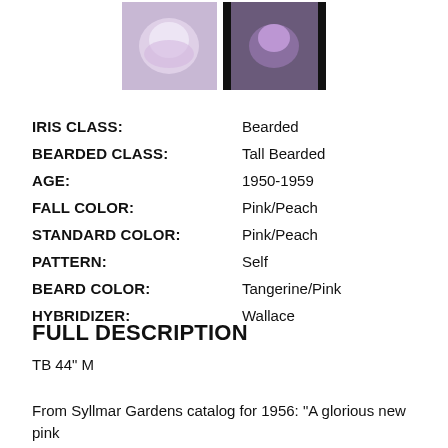[Figure (photo): Two photos of iris flowers side by side at top of page]
IRIS CLASS: Bearded
BEARDED CLASS: Tall Bearded
AGE: 1950-1959
FALL COLOR: Pink/Peach
STANDARD COLOR: Pink/Peach
PATTERN: Self
BEARD COLOR: Tangerine/Pink
HYBRIDIZER: Wallace
FULL DESCRIPTION
TB 44" M
From Syllmar Gardens catalog for 1956: "A glorious new pink